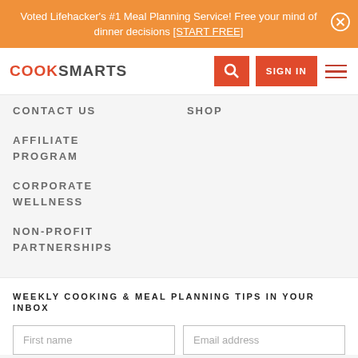Voted Lifehacker's #1 Meal Planning Service! Free your mind of dinner decisions [START FREE]
[Figure (logo): CookSmarts logo with search button, SIGN IN button, and hamburger menu]
CONTACT US
SHOP
AFFILIATE PROGRAM
CORPORATE WELLNESS
NON-PROFIT PARTNERSHIPS
WEEKLY COOKING & MEAL PLANNING TIPS IN YOUR INBOX
First name  Email address